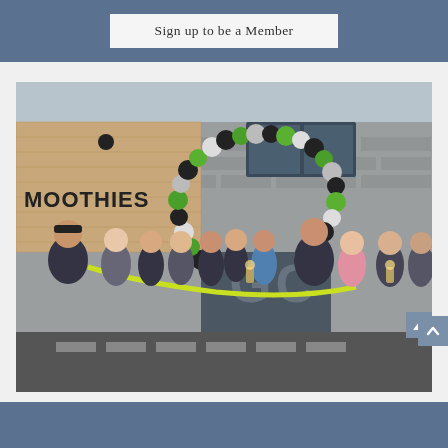Sign up to be a Member
[Figure (photo): Group of people celebrating a ribbon cutting ceremony in front of a GC (gym/smoothie) storefront. A balloon arch in green, black, and silver/white hangs above the entrance. The left wall shows a wooden panel with 'MOOTHIES' (partial 'S' cut off). People are holding a yellow-green ribbon. The building exterior is stone/brick.]